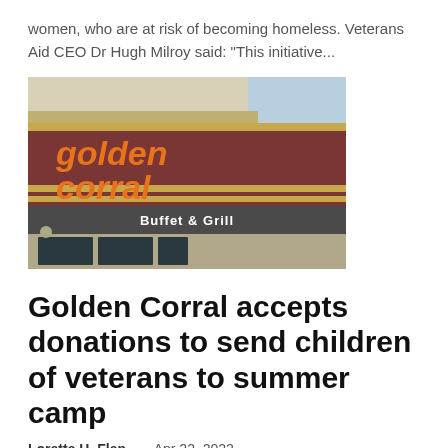women, who are at risk of becoming homeless. Veterans Aid CEO Dr Hugh Milroy said: “This initiative...
[Figure (photo): Exterior photo of a Golden Corral Buffet & Grill restaurant sign, showing the orange italic 'golden corral' text on a dark red background with gold stripes, and a 'Buffet & Grill' banner below.]
Golden Corral accepts donations to send children of veterans to summer camp
Loretta H. Flan...   Apr 22, 2022
BECKLEY, West Virginia (WVVA) - Camp Corral is back! Summer camp for children of injured, fallen or ill veterans took a break during the pandemic, but now Golden Corrals across the country